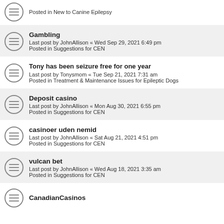Posted in New to Canine Epilepsy
Gambling
Last post by JohnAllison « Wed Sep 29, 2021 6:49 pm
Posted in Suggestions for CEN
Tony has been seizure free for one year
Last post by Tonysmom « Tue Sep 21, 2021 7:31 am
Posted in Treatment & Maintenance Issues for Epileptic Dogs
Deposit casino
Last post by JohnAllison « Mon Aug 30, 2021 6:55 pm
Posted in Suggestions for CEN
casinoer uden nemid
Last post by JohnAllison « Sat Aug 21, 2021 4:51 pm
Posted in Suggestions for CEN
vulcan bet
Last post by JohnAllison « Wed Aug 18, 2021 3:35 am
Posted in Suggestions for CEN
CanadianCasinos